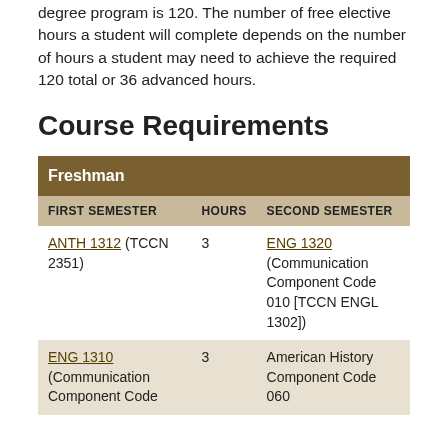degree program is 120. The number of free elective hours a student will complete depends on the number of hours a student may need to achieve the required 120 total or 36 advanced hours.
Course Requirements
| FIRST SEMESTER | HOURS | SECOND SEMESTER |
| --- | --- | --- |
| ANTH 1312 (TCCN 2351) | 3 | ENG 1320 (Communication Component Code 010 [TCCN ENGL 1302]) |
| ENG 1310 (Communication Component Code | 3 | American History Component Code 060 |